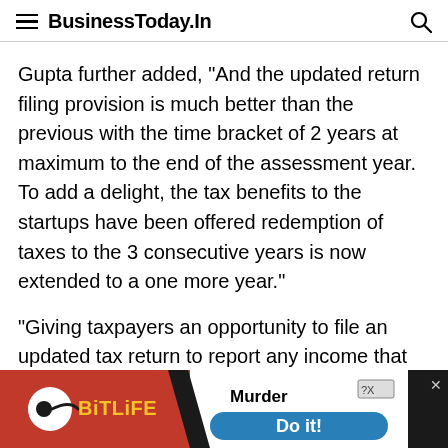BusinessToday.In
Gupta further added, “And the updated return filing provision is much better than the previous with the time bracket of 2 years at maximum to the end of the assessment year. To add a delight, the tax benefits to the startups have been offered redemption of taxes to the 3 consecutive years is now extended to a one more year.”
“Giving taxpayers an opportunity to file an updated tax return to report any income that
[Figure (screenshot): Advertisement banner for BitLife mobile game featuring red background with BitLife logo on left, and 'Murder Do it!' text with blue button on right]